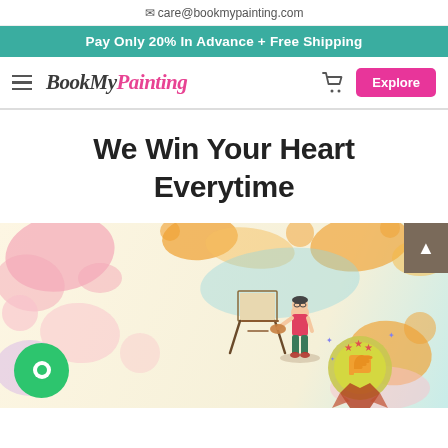✉ care@bookmypainting.com
Pay Only 20% In Advance + Free Shipping
[Figure (screenshot): BookMyPainting website navigation bar with hamburger menu, logo, cart icon, and Explore button]
We Win Your Heart Everytime
[Figure (illustration): Colorful paint splash background with illustrated artist painting at an easel, a quality badge icon, a green chat bubble icon, and a dark scroll-to-top button]